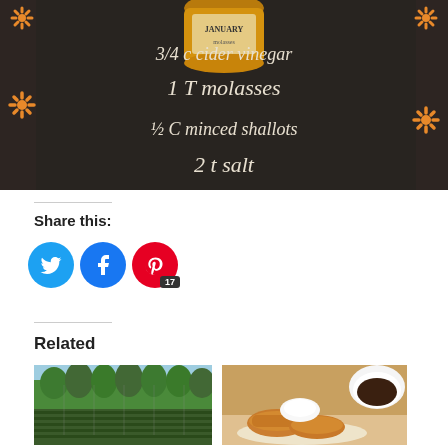[Figure (photo): Chalkboard with handwritten recipe ingredients in white and orange text: JANUARY, 3/4 C cider vinegar, 1 T molasses, 1/2 C minced shallots, 2 t salt. Orange decorative snowflake/flower designs on sides.]
Share this:
[Figure (infographic): Social share buttons: Twitter (blue circle with bird icon), Facebook (blue circle with f icon), Pinterest (red circle with P icon and badge showing 17)]
Related
[Figure (photo): Photo of a garden with rows of plants and trees in background under blue sky]
[Figure (photo): Photo of fried food items on a plate with a bowl of dark sauce]